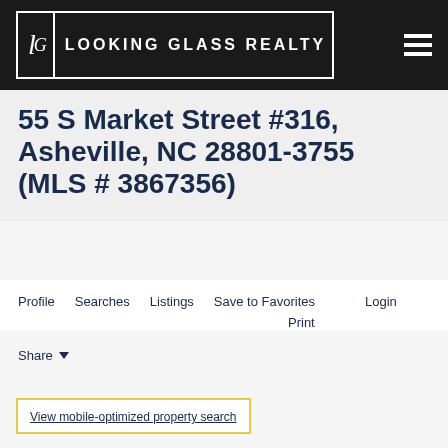Looking Glass Realty
55 S Market Street #316, Asheville, NC 28801-3755 (MLS # 3867356)
Profile   Searches   Listings   Save to Favorites   Login   Print
Share
View mobile-optimized property search